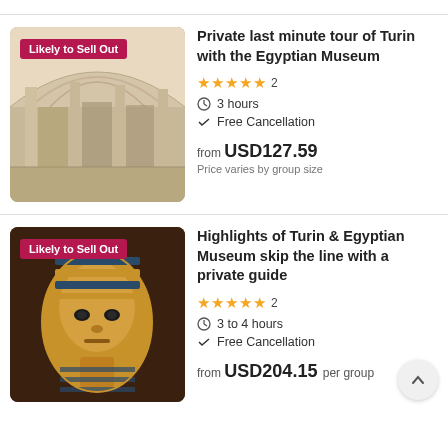[Figure (photo): Partial page header area with light gray background]
[Figure (photo): Street view of Turin arcade with arched colonnade, classical architecture, sunny cobblestone plaza. Badge: 'Likely to Sell Out']
Private last minute tour of Turin with the Egyptian Museum
★★★★★ 2
3 hours
Free Cancellation
from USD127.59
Price varies by group size
[Figure (photo): Close-up photo of an ancient Egyptian sarcophagus/mummy mask with gold and dark striped decoration. Badge: 'Likely to Sell Out']
Highlights of Turin & Egyptian Museum skip the line with a private guide
★★★★★ 2
3 to 4 hours
Free Cancellation
from USD204.15 per group